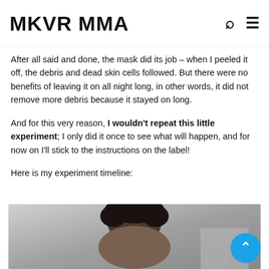MKVR MMA
After all said and done, the mask did its job – when I peeled it off, the debris and dead skin cells followed. But there were no benefits of leaving it on all night long, in other words, it did not remove more debris because it stayed on long.
And for this very reason, I wouldn't repeat this little experiment; I only did it once to see what will happen, and for now on I'll stick to the instructions on the label!
Here is my experiment timeline:
[Figure (photo): A person's face/head visible from above in what appears to be a bathroom setting, part of an experiment timeline photo.]